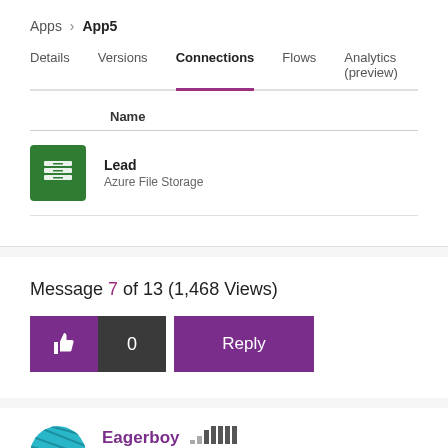Apps > App5
Details  Versions  Connections  Flows  Analytics (preview)
| Name |
| --- |
| Lead
Azure File Storage |
Message 7 of 13  (1,468 Views)
[Figure (screenshot): Like button (thumbs up) and 0 count button in purple/dark, Reply button in purple]
Eagerboy  Helper I